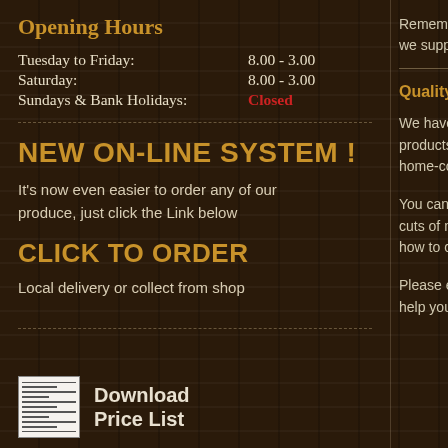Opening Hours
| Tuesday to Friday: | 8.00 - 3.00 |
| Saturday: | 8.00 - 3.00 |
| Sundays & Bank Holidays: | Closed |
NEW ON-LINE SYSTEM !
It's now even easier to order any of our produce, just click the Link below
CLICK TO ORDER
Local delivery or collect from shop
[Figure (other): Thumbnail image of price list document]
Download
Price List
Remember we are h we support our loca
Quality Service and
We have won many products, including home-cooked pies
You can be assured cuts of meat, or pro how to cook it
Please explore our help you make the